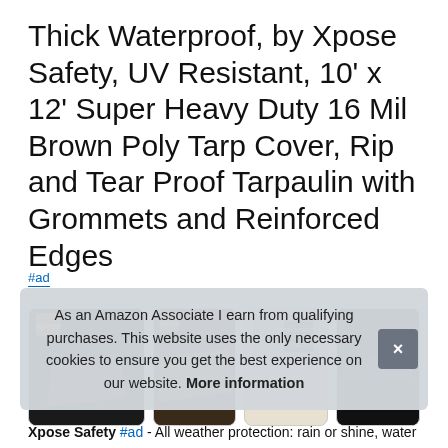Thick Waterproof, by Xpose Safety, UV Resistant, 10' x 12' Super Heavy Duty 16 Mil Brown Poly Tarp Cover, Rip and Tear Proof Tarpaulin with Grommets and Reinforced Edges
#ad
[Figure (screenshot): Four product thumbnail images showing a brown tarp product]
As an Amazon Associate I earn from qualifying purchases. This website uses the only necessary cookies to ensure you get the best experience on our website. More information
Xpose Safety #ad - All weather protection: rain or shine, water